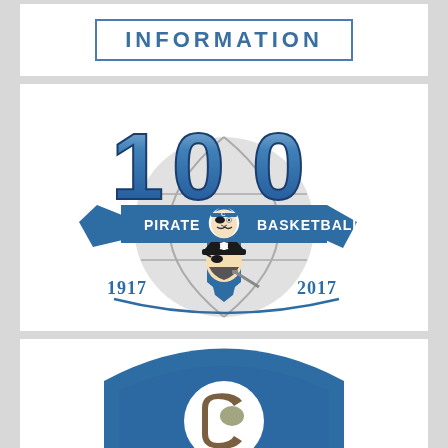[Figure (logo): A bordered box with the text INFORMATION in blue spaced capital letters]
[Figure (logo): 100 Pirate Basketball centennial logo 1917-2017 with blue '100' numerals, a blue banner reading 'PIRATE BASKETBALL', a pirate mascot, Indiana state shape, and basketball graphic in blue and gray]
[Figure (logo): Partially visible blue shield/crest logo with a circular emblem in the center, cropped at bottom of page]